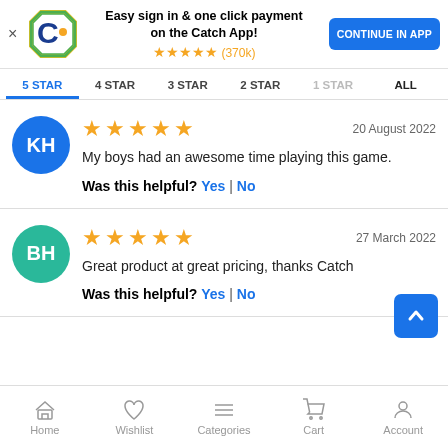[Figure (screenshot): Catch app promotional banner with logo, headline, star rating (370k reviews), and Continue in App button]
5 STAR  4 STAR  3 STAR  2 STAR  1 STAR  ALL
★★★★★  20 August 2022
My boys had an awesome time playing this game.
Was this helpful? Yes | No
★★★★★  27 March 2022
Great product at great pricing, thanks Catch
Was this helpful? Yes | No
Home  Wishlist  Categories  Cart  Account